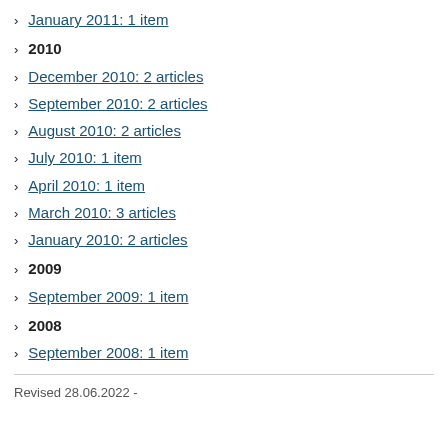January 2011: 1 item
2010
December 2010: 2 articles
September 2010: 2 articles
August 2010: 2 articles
July 2010: 1 item
April 2010: 1 item
March 2010: 3 articles
January 2010: 2 articles
2009
September 2009: 1 item
2008
September 2008: 1 item
Revised 28.06.2022 -